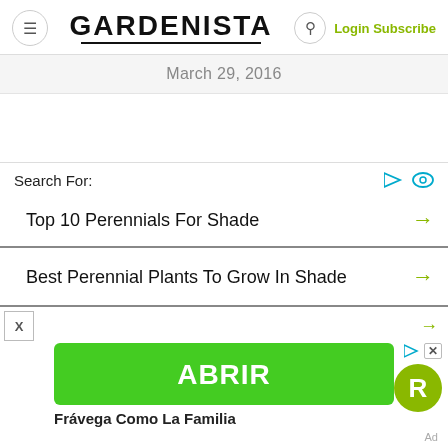GARDENISTA  Login Subscribe
March 29, 2016
Search For:
Top 10 Perennials For Shade →
Best Perennial Plants To Grow In Shade →
[Figure (screenshot): Advertisement banner: green ABRIR button, Frávega Como La Familia text, R badge logo, Ad label]
Ad